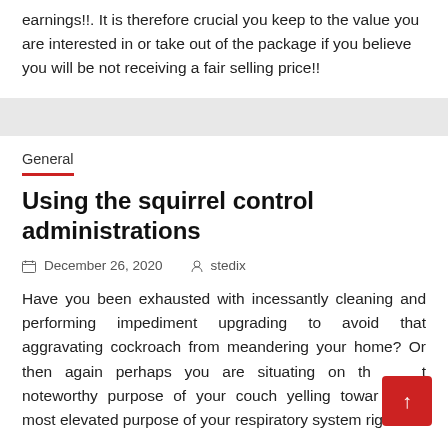earnings!!. It is therefore crucial you keep to the value you are interested in or take out of the package if you believe you will be not receiving a fair selling price!!
General
Using the squirrel control administrations
December 26, 2020   stedix
Have you been exhausted with incessantly cleaning and performing impediment upgrading to avoid that aggravating cockroach from meandering your home? Or then again perhaps you are situating on the most noteworthy purpose of your couch yelling towards the most elevated purpose of your respiratory system right